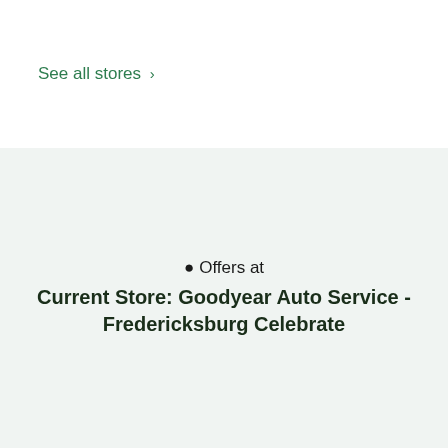See all stores >
♦ Offers at
Current Store: Goodyear Auto Service - Fredericksburg Celebrate